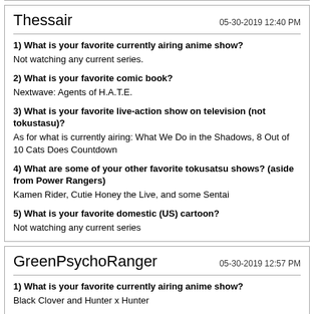Thessair  05-30-2019 12:40 PM
1) What is your favorite currently airing anime show?
Not watching any current series.
2) What is your favorite comic book?
Nextwave: Agents of H.A.T.E.
3) What is your favorite live-action show on television (not tokustasu)?
As for what is currently airing: What We Do in the Shadows, 8 Out of 10 Cats Does Countdown
4) What are some of your other favorite tokusatsu shows? (aside from Power Rangers)
Kamen Rider, Cutie Honey the Live, and some Sentai
5) What is your favorite domestic (US) cartoon?
Not watching any current series
GreenPsychoRanger  05-30-2019 12:57 PM
1) What is your favorite currently airing anime show?
Black Clover and Hunter x Hunter
2) What is your favorite comic book?